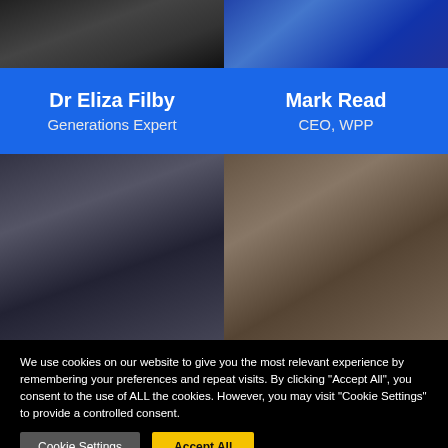[Figure (photo): Partial top photo of Dr Eliza Filby, left column]
[Figure (photo): Partial top photo of Mark Read, right column]
Dr Eliza Filby
Generations Expert
Mark Read
CEO, WPP
[Figure (photo): Photo of Dr Eliza Filby speaking at a podium]
[Figure (photo): Photo of a woman with braided hair, close-up face shot]
We use cookies on our website to give you the most relevant experience by remembering your preferences and repeat visits. By clicking "Accept All", you consent to the use of ALL the cookies. However, you may visit "Cookie Settings" to provide a controlled consent.